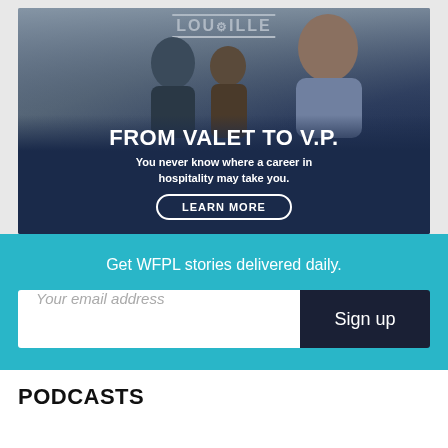[Figure (screenshot): Advertisement banner for Louisville showing business people. Text reads FROM VALET TO V.P. with subtext You never know where a career in hospitality may take you. and a LEARN MORE button.]
Get WFPL stories delivered daily.
Your email address    Sign up
PODCASTS